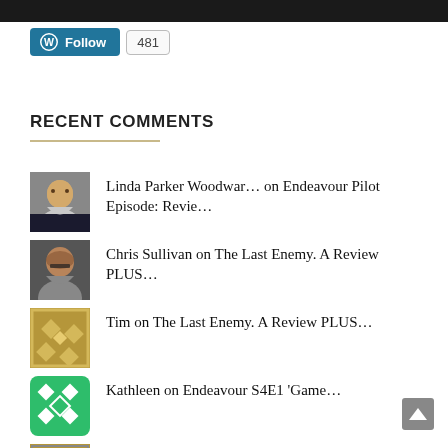[Figure (screenshot): Dark top navigation bar]
[Figure (screenshot): WordPress Follow button with count 481]
RECENT COMMENTS
Linda Parker Woodwar… on Endeavour Pilot Episode: Revie…
Chris Sullivan on The Last Enemy. A Review PLUS…
Tim on The Last Enemy. A Review PLUS…
Kathleen on Endeavour S4E1 'Game…
Ivana on ENDEAVOUR: 'Quartet' S5E5; Rev…